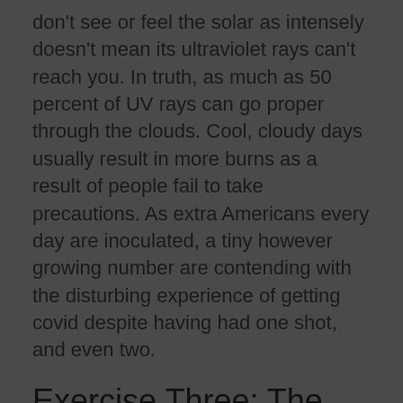don't see or feel the solar as intensely doesn't mean its ultraviolet rays can't reach you. In truth, as much as 50 percent of UV rays can go proper through the clouds. Cool, cloudy days usually result in more burns as a result of people fail to take precautions. As extra Americans every day are inoculated, a tiny however growing number are contending with the disturbing experience of getting covid despite having had one shot, and even two.
Exercise Three: The Golfers Workout:
You'll work hard, but additionally get pleasure from a fun and social environment. We have a welcoming and supportive employees, contact-